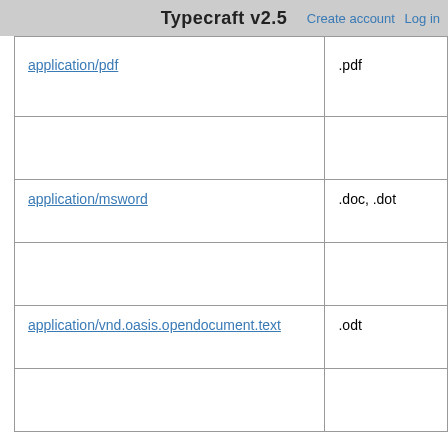Typecraft v2.5  Create account  Log in
| MIME type | Extensions |
| --- | --- |
| application/pdf | .pdf |
| application/msword | .doc, .dot |
| application/vnd.oasis.opendocument.text | .odt |
Rich media
| MIME type | Possible extensions | Number of files | Combined size |
| --- | --- | --- | --- |
| video/quicktime | .qt, .mov | 2 (0.221%) | 288,042, bytes (27 MB; 19.9 |